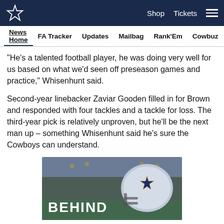Dallas Cowboys logo | Shop | Tickets | Menu
News Home | FA Tracker | Updates | Mailbag | Rank'Em | Cowbuz
"He's a talented football player, he was doing very well for us based on what we'd seen off preseason games and practice," Whisenhunt said.
Second-year linebacker Zaviar Gooden filled in for Brown and responded with four tackles and a tackle for loss. The third-year pick is relatively unproven, but he'll be the next man up – something Whisenhunt said he's sure the Cowboys can understand.
[Figure (photo): Dallas Cowboys promotional banner image showing a Cowboys helmet in a stadium with the text 'BEHIND' in large white letters]
Social share icons: Facebook, Twitter, Email, Link